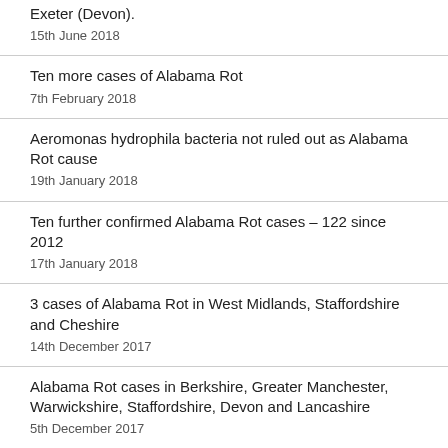Exeter (Devon).
15th June 2018
Ten more cases of Alabama Rot
7th February 2018
Aeromonas hydrophila bacteria not ruled out as Alabama Rot cause
19th January 2018
Ten further confirmed Alabama Rot cases – 122 since 2012
17th January 2018
3 cases of Alabama Rot in West Midlands, Staffordshire and Cheshire
14th December 2017
Alabama Rot cases in Berkshire, Greater Manchester, Warwickshire, Staffordshire, Devon and Lancashire
5th December 2017